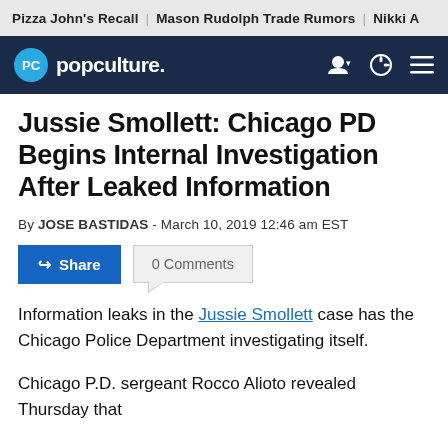Pizza John's Recall | Mason Rudolph Trade Rumors | Nikki A
[Figure (logo): Popculture.com navigation bar with logo and icons]
Jussie Smollett: Chicago PD Begins Internal Investigation After Leaked Information
By JOSE BASTIDAS - March 10, 2019 12:46 am EST
Share  0 Comments
Information leaks in the Jussie Smollett case has the Chicago Police Department investigating itself.
Chicago P.D. sergeant Rocco Alioto revealed Thursday that